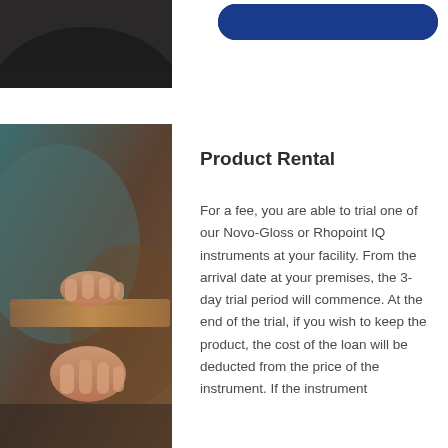[Figure (photo): Top cropped image showing a curved surface, possibly a glossmeter instrument, with dark and light tones]
[Figure (other): Blue rounded rectangle button at the top right]
[Figure (photo): Person's hands handling a wooden surface or panel, blurred background with teal/brown tones]
Product Rental
For a fee, you are able to trial one of our Novo-Gloss or Rhopoint IQ instruments at your facility. From the arrival date at your premises, the 3-day trial period will commence. At the end of the trial, if you wish to keep the product, the cost of the loan will be deducted from the price of the instrument. If the instrument